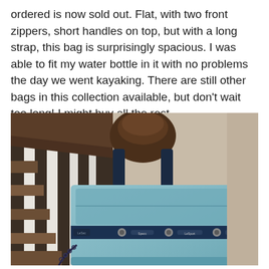ordered is now sold out. Flat, with two front zippers, short handles on top, but with a long strap, this bag is surprisingly spacious. I was able to fit my water bottle in it with no problems the day we went kayaking. There are still other bags in this collection available, but don't wait too long! I might buy all the rest.
[Figure (photo): A light blue flat bag with two front zippered pockets and a dark navy strap, placed against a staircase banister with white spindles and dark wood railing. A round dark brown newel post is visible at the top of the bag.]